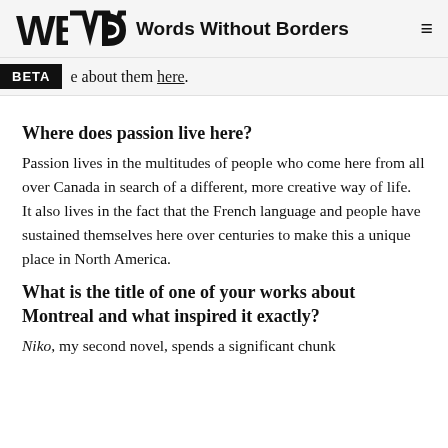Words Without Borders
e about them here.
Where does passion live here?
Passion lives in the multitudes of people who come here from all over Canada in search of a different, more creative way of life.  It also lives in the fact that the French language and people have sustained themselves here over centuries to make this a unique place in North America.
What is the title of one of your works about Montreal and what inspired it exactly?
Niko, my second novel, spends a significant chunk of time in Montreal. The novel also has sections in